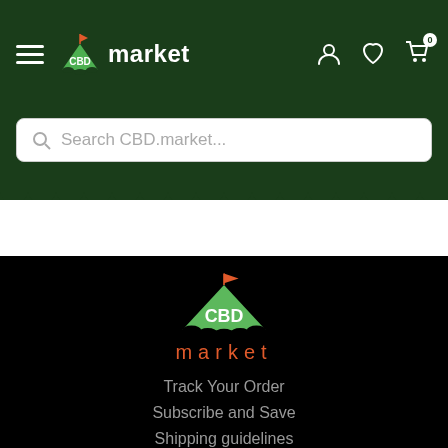CBD market — navigation header with hamburger menu, logo, user icon, heart icon, cart icon (0)
Search CBD.market...
[Figure (logo): CBD market logo: green tent/marquee shape with red flag on top, white text CBD inside, red text 'market' below]
Track Your Order
Subscribe and Save
Shipping guidelines